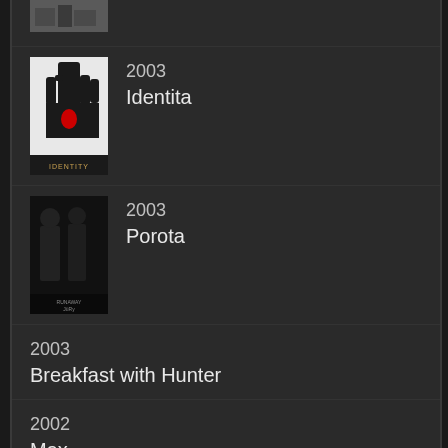[Figure (photo): Partial movie poster at top, cropped]
2003
Identita
2003
Porota
2003
Breakfast with Hunter
2002
Max
2001
Lásce na stopě
2001